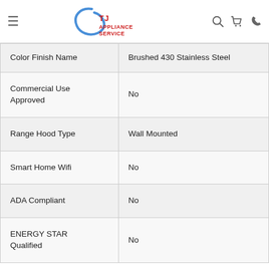TJ Appliance Service
| Property | Value |
| --- | --- |
| Color Finish Name | Brushed 430 Stainless Steel |
| Commercial Use Approved | No |
| Range Hood Type | Wall Mounted |
| Smart Home Wifi | No |
| ADA Compliant | No |
| ENERGY STAR Qualified | No |